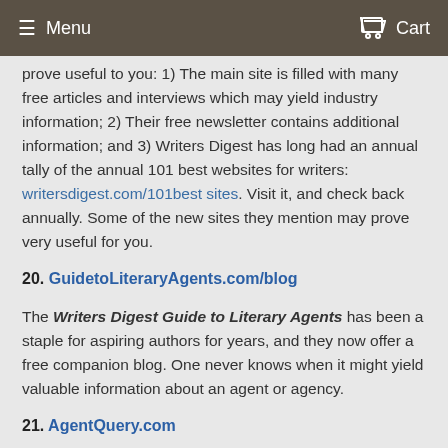Menu   Cart
prove useful to you: 1) The main site is filled with many free articles and interviews which may yield industry information; 2) Their free newsletter contains additional information; and 3) Writers Digest has long had an annual tally of the annual 101 best websites for writers: writersdigest.com/101best sites. Visit it, and check back annually. Some of the new sites they mention may prove very useful for you.
20. GuidetoLiteraryAgents.com/blog
The Writers Digest Guide to Literary Agents has been a staple for aspiring authors for years, and they now offer a free companion blog. One never knows when it might yield valuable information about an agent or agency.
21. AgentQuery.com
This site offers a lot of free information about the industry, and offers a free, searchable database of agent and agency